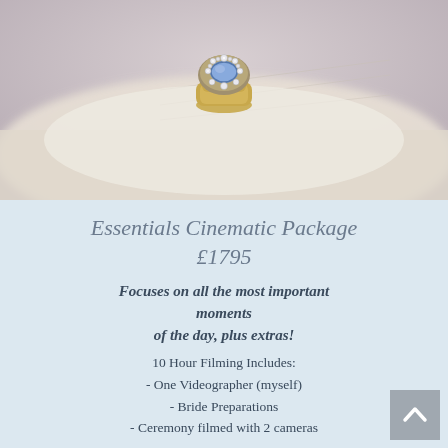[Figure (photo): Close-up photo of an engagement ring with a blue oval gemstone surrounded by diamonds in a gold setting, resting on a white surface. The background is blurred with pastel pink tones.]
Essentials Cinematic Package £1795
Focuses on all the most important moments of the day, plus extras!
10 Hour Filming Includes:
- One Videographer (myself)
- Bride Preparations
- Ceremony filmed with 2 cameras